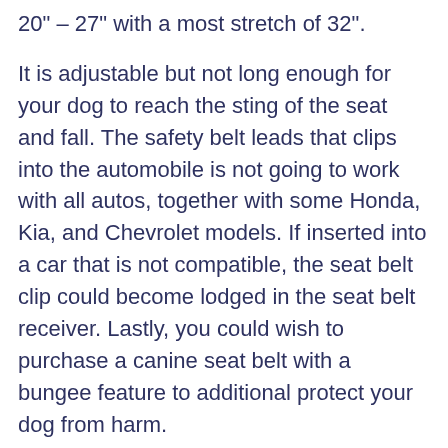20" – 27" with a most stretch of 32".
It is adjustable but not long enough for your dog to reach the sting of the seat and fall. The safety belt leads that clips into the automobile is not going to work with all autos, together with some Honda, Kia, and Chevrolet models. If inserted into a car that is not compatible, the seat belt clip could become lodged in the seat belt receiver. Lastly, you could wish to purchase a canine seat belt with a bungee feature to additional protect your dog from harm.
The restraint comes in 5 sizes – 16", 21"...